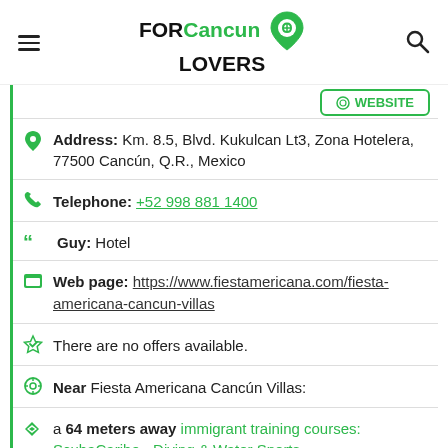FOR Cancun LOVERS
Address: Km. 8.5, Blvd. Kukulcan Lt3, Zona Hotelera, 77500 Cancún, Q.R., Mexico
Telephone: +52 998 881 1400
Guy: Hotel
Web page: https://www.fiestamericana.com/fiesta-americana-cancun-villas
There are no offers available.
Near Fiesta Americana Cancún Villas:
a 64 meters away immigrant training courses: ScubaCaribe - Diving & Water Sports
Are you the owner of the business? PROMOTE